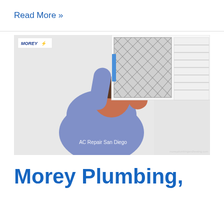Read More »
[Figure (photo): A man in a blue shirt reaching up to install or remove an air conditioning filter in a ceiling vent. The Morey logo is visible in the top left corner of the image. Caption reads 'AC Repair San Diego'.]
Morey Plumbing,